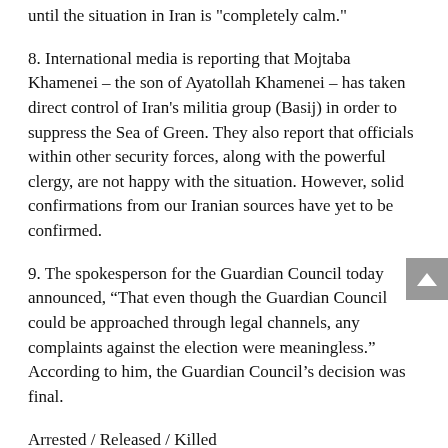until the situation in Iran is "completely calm."
8. International media is reporting that Mojtaba Khamenei – the son of Ayatollah Khamenei – has taken direct control of Iran's militia group (Basij) in order to suppress the Sea of Green. They also report that officials within other security forces, along with the powerful clergy, are not happy with the situation. However, solid confirmations from our Iranian sources have yet to be confirmed.
9. The spokesperson for the Guardian Council today announced, “That even though the Guardian Council could be approached through legal channels, any complaints against the election were meaningless.” According to him, the Guardian Council’s decision was final.
Arrested / Released / Killed
10. Mohammad Ali Dadkha, a prominent lawyer and human rights activist, was arrested at his office today. Amir Raeesian and Malihe Dadkhah – who